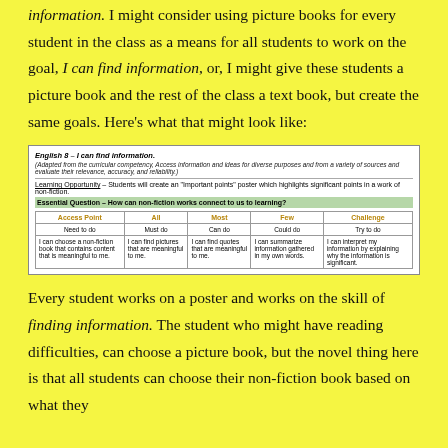information. I might consider using picture books for every student in the class as a means for all students to work on the goal, I can find information, or, I might give these students a picture book and the rest of the class a text book, but create the same goals. Here's what that might look like:
| Access Point | All | Most | Few | Challenge |
| --- | --- | --- | --- | --- |
| Need to do | Must do | Can do | Could do | Try to do |
| I can choose a non-fiction book that contains content that is meaningful to me. | I can find pictures that are meaningful to me. | I can find quotes that are meaningful to me. | I can summarize information gathered in my own words. | I can interpret my information by explaining why the information is significant. |
Every student works on a poster and works on the skill of finding information. The student who might have reading difficulties, can choose a picture book, but the novel thing here is that all students can choose their non-fiction book based on what they